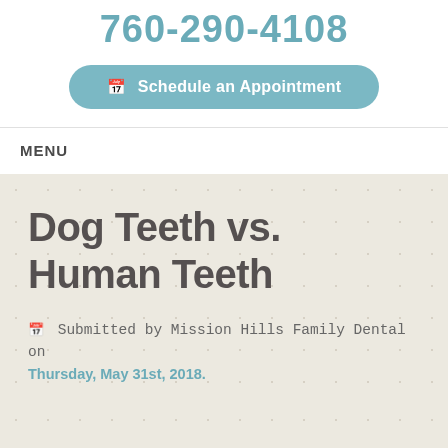760-290-4108
Schedule an Appointment
MENU
Dog Teeth vs. Human Teeth
Submitted by Mission Hills Family Dental on Thursday, May 31st, 2018.